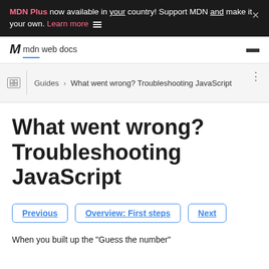MDN Plus now available in your country! Support MDN and make it your own. Learn more
[Figure (logo): MDN Web Docs logo with stylized M and text 'mdn web docs']
Guides > What went wrong? Troubleshooting JavaScript
What went wrong? Troubleshooting JavaScript
Previous | Overview: First steps | Next
When you built up the "Guess the number"